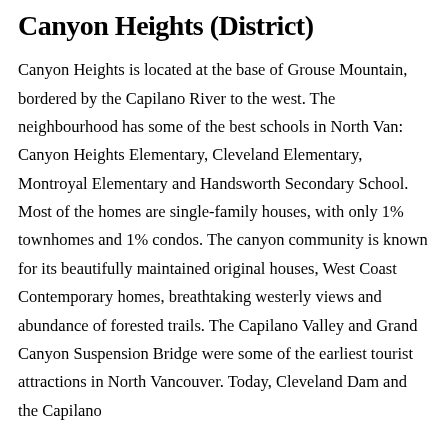Canyon Heights (District)
Canyon Heights is located at the base of Grouse Mountain, bordered by the Capilano River to the west. The neighbourhood has some of the best schools in North Van: Canyon Heights Elementary, Cleveland Elementary, Montroyal Elementary and Handsworth Secondary School. Most of the homes are single-family houses, with only 1% townhomes and 1% condos. The canyon community is known for its beautifully maintained original houses, West Coast Contemporary homes, breathtaking westerly views and abundance of forested trails. The Capilano Valley and Grand Canyon Suspension Bridge were some of the earliest tourist attractions in North Vancouver. Today, Cleveland Dam and the Capilano